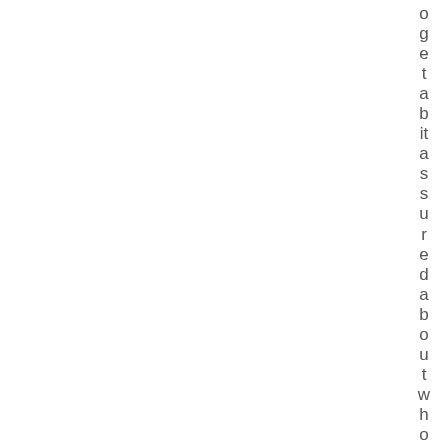ogetabitassuredaboutwhomtheyare